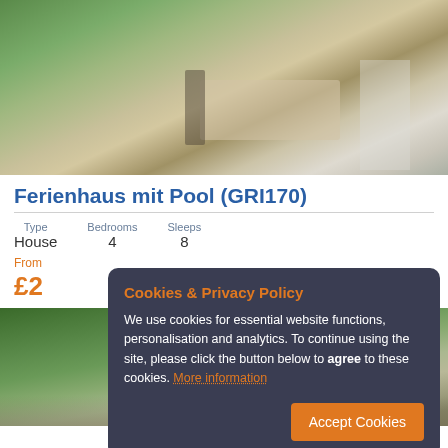[Figure (photo): Outdoor patio area with dining table, chairs, and pool visible in background surrounded by greenery]
Ferienhaus mit Pool (GRI170)
| Type | Bedrooms | Sleeps |
| --- | --- | --- |
| House | 4 | 8 |
From £2...
[Figure (photo): Garden and outdoor area with lush greenery, stone pathway]
Cookies & Privacy Policy
We use cookies for essential website functions, personalisation and analytics. To continue using the site, please click the button below to agree to these cookies. More information
Accept Cookies